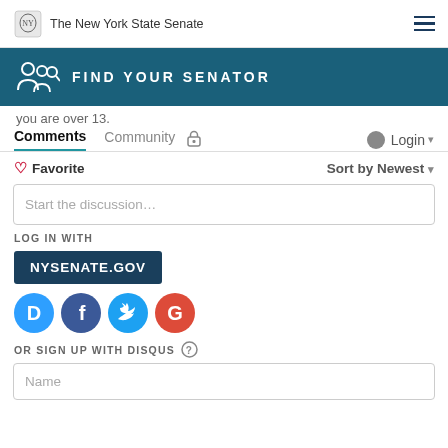The New York State Senate
[Figure (screenshot): Find Your Senator blue banner with person/magnifier icon]
you are over 13.
Comments   Community   Login
Favorite   Sort by Newest
Start the discussion…
LOG IN WITH
NYSENATE.GOV
[Figure (screenshot): Social login icons: Disqus (D), Facebook (f), Twitter bird, Google (G)]
OR SIGN UP WITH DISQUS ?
Name